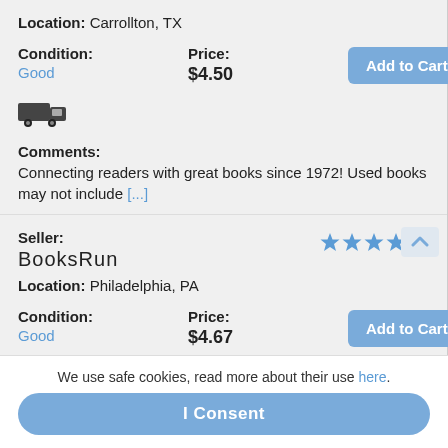Location: Carrollton, TX
Condition: Good
Price: $4.50
[Figure (illustration): Shipping truck icon]
Comments: Connecting readers with great books since 1972! Used books may not include [...]
Seller: BooksRun
[Figure (other): Star rating: 4 out of 5 stars]
Location: Philadelphia, PA
Condition: Good
Price: $4.67
We use safe cookies, read more about their use here.
I Consent